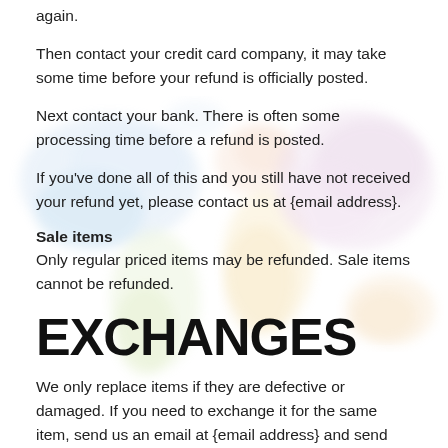again.
Then contact your credit card company, it may take some time before your refund is officially posted.
Next contact your bank. There is often some processing time before a refund is posted.
If you've done all of this and you still have not received your refund yet, please contact us at {email address}.
Sale items
Only regular priced items may be refunded. Sale items cannot be refunded.
EXCHANGES
We only replace items if they are defective or damaged. If you need to exchange it for the same item, send us an email at {email address} and send your item to: {physical address}.